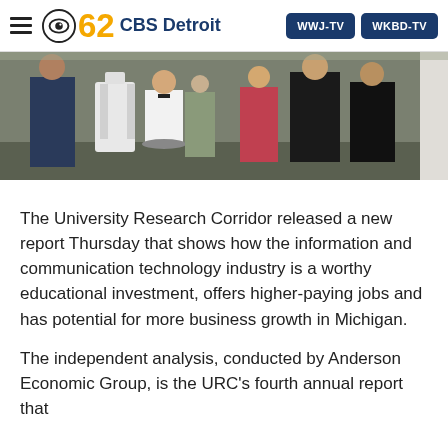CBS 62 CBS Detroit | WWJ-TV | WKBD-TV
[Figure (photo): A group of people at what appears to be a social event or reception. A young man in a white shirt and bow tie is visible in the foreground holding a tray.]
The University Research Corridor released a new report Thursday that shows how the information and communication technology industry is a worthy educational investment, offers higher-paying jobs and has potential for more business growth in Michigan.
The independent analysis, conducted by Anderson Economic Group, is the URC's fourth annual report that